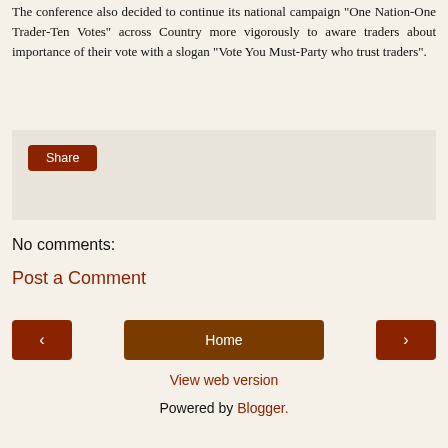The conference also decided to continue its national campaign "One Nation-One Trader-Ten Votes" across Country more vigorously to aware traders about importance of their vote with a slogan "Vote You Must-Party who trust traders".
[Figure (screenshot): A social media share widget area with a gray background and a red/brown 'Share' button]
No comments:
Post a Comment
[Figure (screenshot): Navigation bar with left arrow button, Home button, and right arrow button]
View web version
Powered by Blogger.